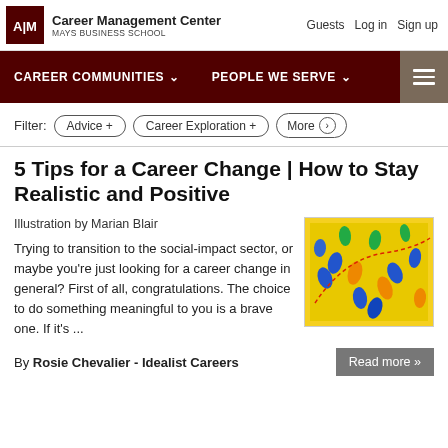Career Management Center / MAYS BUSINESS SCHOOL | Guests  Log in  Sign up
CAREER COMMUNITIES  PEOPLE WE SERVE
Filter: Advice +   Career Exploration +   More >
5 Tips for a Career Change | How to Stay Realistic and Positive
Illustration by Marian Blair
[Figure (illustration): Colorful illustration of footprints in various colors (blue, green, orange) on a yellow background with a red dotted line path]
Trying to transition to the social-impact sector, or maybe you're just looking for a career change in general? First of all, congratulations. The choice to do something meaningful to you is a brave one. If it's ...
By Rosie Chevalier - Idealist Careers
Read more »